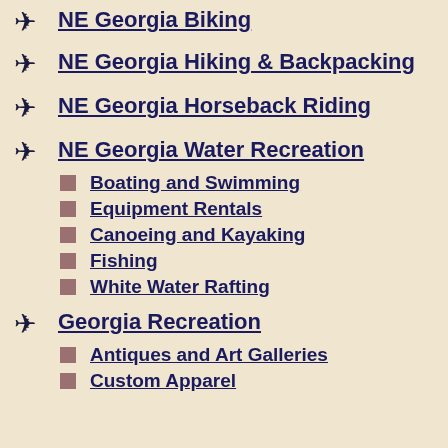NE Georgia Biking
NE Georgia Hiking & Backpacking
NE Georgia Horseback Riding
NE Georgia Water Recreation
Boating and Swimming
Equipment Rentals
Canoeing and Kayaking
Fishing
White Water Rafting
Georgia Recreation
Antiques and Art Galleries
Custom Apparel